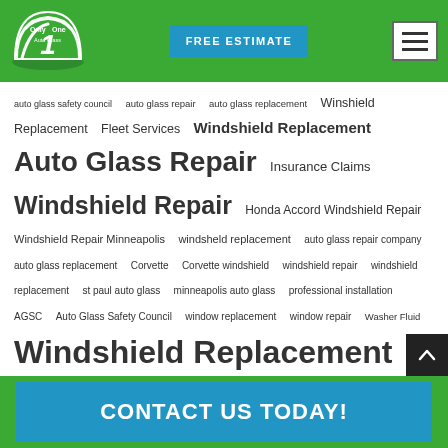[Figure (logo): Only One Auto Glass logo — white windshield wiper fan shape on green background with numeral 1]
FREE ESTIMATE
auto glass safety council  auto glass repair  auto glass replacement  Winshield Replacement  Fleet Services  Windshield Replacement  Auto Glass Repair  Insurance Claims  Windshield Repair  Honda Accord Windshield Repair  Windshield Repair Minneapolis  windsheld replacement  auto glass repair company  auto glass replacement  Corvette  Corvette windshield  windshield repair  windshield replacement  st paul auto glass  minneapolis auto glass  professional installation  AGSC  Auto Glass Safety Council  window replacement  window repair  Washer Fluid  Windshield Replacement  Auto Glass  Window Replacement  St Paul Auto Glass  Br
CONTACT US TODAY!